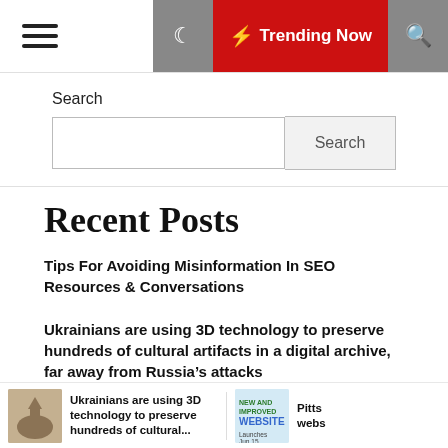Trending Now
Search
Tips For Avoiding Misinformation In SEO Resources & Conversations
Ukrainians are using 3D technology to preserve hundreds of cultural artifacts in a digital archive, far away from Russia's attacks
Pittsylvania County to launch new website | News
Ukrainians are using 3D technology to preserve hundreds of cultural... | Pitts webs